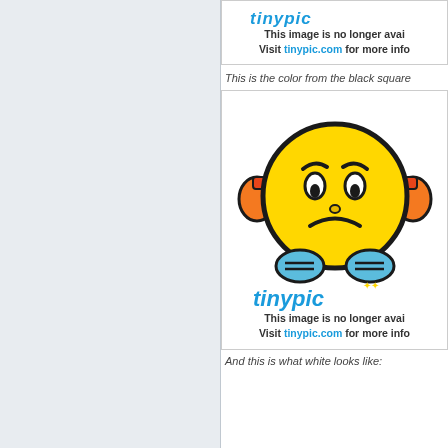[Figure (screenshot): Tinypic 'image no longer available' placeholder with colorful sad face emoji mascot and tinypic logo, shown twice. Page has a light blue-gray left sidebar and white right content area. Top portion shows partial tinypic placeholder with text 'This image is no longer available. Visit tinypic.com for more info.' followed by italic caption 'This is the color from the black square' then a full tinypic placeholder with sad emoji and logo and same message, then italic text 'And this is what white looks like:']
This image is no longer available. Visit tinypic.com for more info.
This is the color from the black square
This image is no longer available. Visit tinypic.com for more info.
And this is what white looks like: